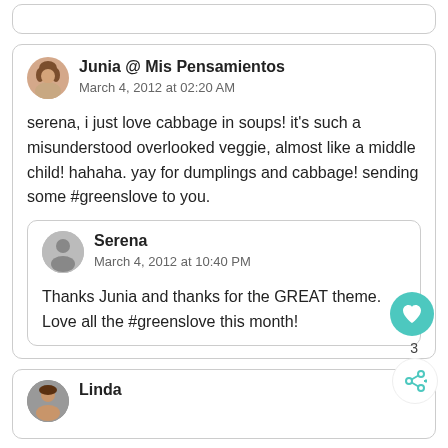[Figure (screenshot): Partial top of a comment card, cropped]
Junia @ Mis Pensamientos
March 4, 2012 at 02:20 AM

serena, i just love cabbage in soups! it's such a misunderstood overlooked veggie, almost like a middle child! hahaha. yay for dumplings and cabbage! sending some #greenslove to you.
Serena
March 4, 2012 at 10:40 PM

Thanks Junia and thanks for the GREAT theme. Love all the #greenslove this month!
Linda